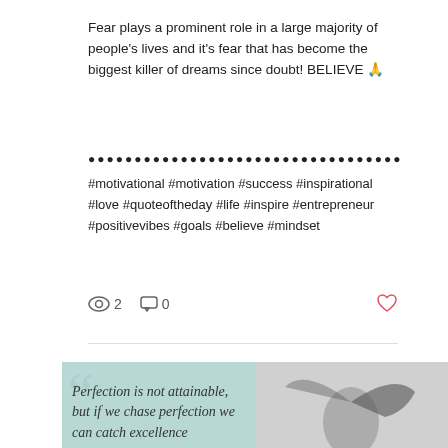Fear plays a prominent role in a large majority of people's lives and it's fear that has become the biggest killer of dreams since doubt! BELIEVE 🙏
••••••••••••••••••••••••••••••••••
#motivational #motivation #success #inspirational #love #quoteoftheday #life #inspire #entrepreneur #positivevibes #goals #believe #mindset
👁 2   💬 0   ♡
[Figure (illustration): Motivational quote card split into two halves. Left half has light teal/mint background with large decorative quotation marks and italic handwritten-style text reading 'Perfection is not attainable, but if we chase perfection we can catch excellence'. Right half shows a black and white photo of a woman with hair flying. A red circular more-options button with three dots overlays the right side.]